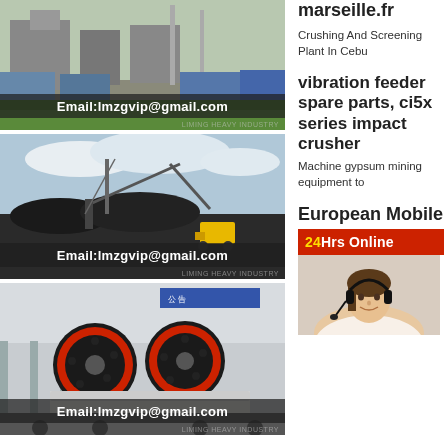[Figure (photo): Industrial crushing and screening plant machinery with trucks, email overlay at bottom: Email:lmzgvip@gmail.com]
marseille.fr
Crushing And Screening Plant In Cebu
[Figure (photo): Mobile crushing plant with conveyor belts and construction equipment on dark ground, email overlay: Email:lmzgvip@gmail.com]
vibration feeder spare parts, ci5x series impact crusher
Machine gypsum mining equipment to
[Figure (photo): Close-up of jaw crusher with red/black wheels, mounted on truck at industrial facility, email overlay: Email:lmzgvip@gmail.com]
European Mobile
24Hrs Online
[Figure (photo): Customer service agent wearing headset]